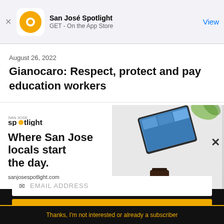San José Spotlight — GET - On the App Store — View
August 26, 2022
Gianocaro: Respect, protect and pay education workers
[Figure (screenshot): San José Spotlight advertisement banner showing tablet device with text 'Where San Jose locals start the day.' and website sanjosespotlight.com]
EMAIL ADDRESS
SUBSCRIBE
Thanks, I'm not interested or already a subscriber